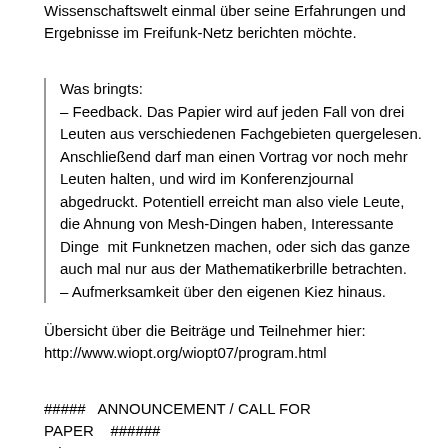Wissenschaftswelt einmal über seine Erfahrungen und Ergebnisse im Freifunk-Netz berichten möchte.
Was bringts:
– Feedback. Das Papier wird auf jeden Fall von drei Leuten aus verschiedenen Fachgebieten quergelesen. Anschließend darf man einen Vortrag vor noch mehr Leuten halten, und wird im Konferenzjournal abgedruckt. Potentiell erreicht man also viele Leute, die Ahnung von Mesh-Dingen haben, Interessante Dinge  mit Funknetzen machen, oder sich das ganze auch mal nur aus der Mathematikerbrille betrachten.
– Aufmerksamkeit über den eigenen Kiez hinaus.
Übersicht über die Beiträge und Teilnehmer hier:
http://www.wiopt.org/wiopt07/program.html
#####   ANNOUNCEMENT / CALL FOR PAPER    ######
WiOpt'08